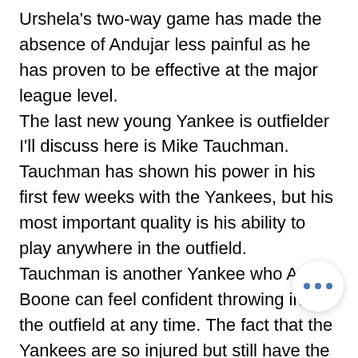Urshela's two-way game has made the absence of Andujar less painful as he has proven to be effective at the major league level. The last new young Yankee is outfielder I'll discuss here is Mike Tauchman. Tauchman has shown his power in his first few weeks with the Yankees, but his most important quality is his ability to play anywhere in the outfield. Tauchman is another Yankee who Aaron Boone can feel confident throwing into the outfield at any time. The fact that the Yankees are so injured but still have the options that they have, is proof that the Yankees front office has done a great job in building depth for the Yankees. These young Yankees ha... surprised many people around baseball